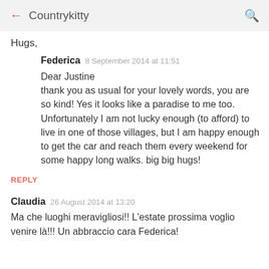← Countrykitty 🔍
Hugs,
Federica  8 September 2014 at 11:51
Dear Justine
thank you as usual for your lovely words, you are so kind! Yes it looks like a paradise to me too. Unfortunately I am not lucky enough (to afford) to live in one of those villages, but I am happy enough to get the car and reach them every weekend for some happy long walks. big big hugs!
REPLY
Claudia  26 August 2014 at 13:20
Ma che luoghi meravigliosi!! L'estate prossima voglio venire là!!! Un abbraccio cara Federica!